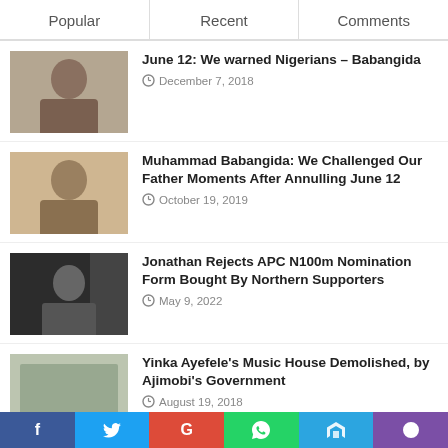Popular | Recent | Comments
June 12: We warned Nigerians – Babangida
December 7, 2018
Muhammad Babangida: We Challenged Our Father Moments After Annulling June 12
October 19, 2019
Jonathan Rejects APC N100m Nomination Form Bought By Northern Supporters
May 9, 2022
Yinka Ayefele's Music House Demolished, by Ajimobi's Government
August 19, 2018